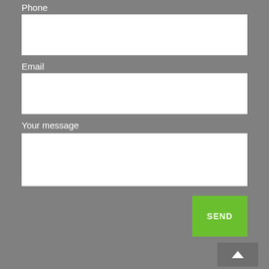Phone
[Figure (other): Phone input text field (white rectangle)]
Email
[Figure (other): Email input text field (white rectangle)]
Your message
[Figure (other): Message textarea (white rectangle)]
[Figure (other): Green SEND button]
[Figure (other): Grey scroll-to-top button with upward arrow]